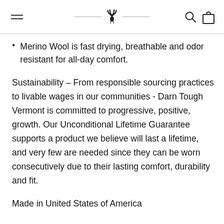Navigation header with hamburger menu, deer logo, search and bag icons
Merino Wool is fast drying, breathable and odor resistant for all-day comfort.
Sustainability – From responsible sourcing practices to livable wages in our communities - Darn Tough Vermont is committed to progressive, positive, growth. Our Unconditional Lifetime Guarantee supports a product we believe will last a lifetime, and very few are needed since they can be worn consecutively due to their lasting comfort, durability and fit.
Made in United States of America